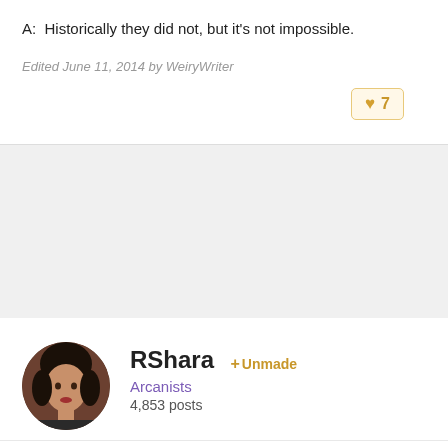A:  Historically they did not, but it's not impossible.
Edited June 11, 2014 by WeiryWriter
♥ 7
RShara  + Unmade
Arcanists
4,853 posts
Posted March 28, 2014 (edited)
Omaha [Would like more audio for this if anyone has it.]
http://www.17thshard.com/forum/topic/6777-questions-for-omaha-signing-3-13-2014/page-3
Q:  The hair color: is there a link between the hair color in Warbreaker and the hair color in—like with the Alethi always have black, and I can't remember the other country that always have